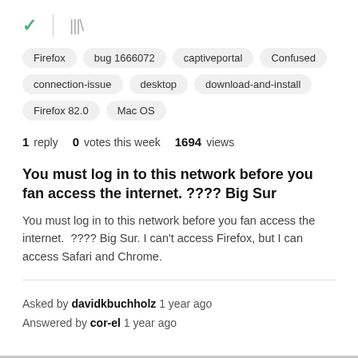✓ | |||\
Firefox
bug 1666072
captiveportal
Confused
connection-issue
desktop
download-and-install
Firefox 82.0
Mac OS
1 reply   0 votes this week   1694 views
You must log in to this network before you fan access the internet. ???? Big Sur
You must log in to this network before you fan access the internet.  ???? Big Sur. I can't access Firefox, but I can access Safari and Chrome.
Asked by davidkbuchholz 1 year ago
Answered by cor-el 1 year ago